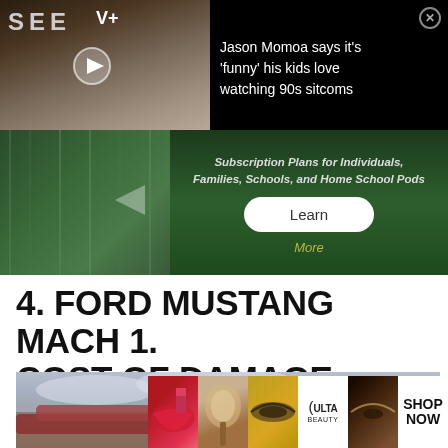[Figure (screenshot): Black overlay ad banner showing Apple TV+ SEE show with Jason Momoa, and news headline text on right side]
Jason Momoa says it's 'funny' his kids love watching 90s sitcoms
[Figure (screenshot): Green advertisement banner for subscription plans with Learn More button]
Subscription Plans for Individuals, Families, Schools, and Home School Pods
4. FORD MUSTANG MACH 1. COST OF DAMAGE = £3,279
[Figure (photo): Photo of a Ford Mustang Mach 1 in a desert landscape with a Keep Out sign visible]
[Figure (screenshot): ULTA beauty advertisement strip at bottom showing makeup close-ups with SHOP NOW button]